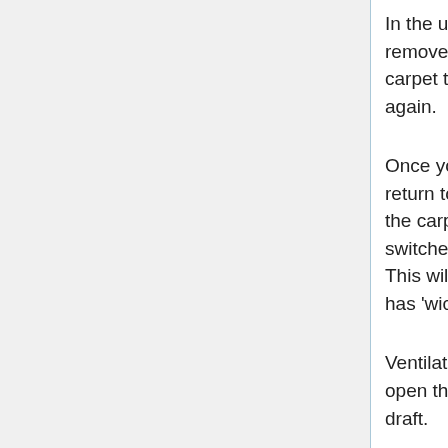In the unlikely event that this doesn't remove the dirt - STOP. Wait for the carpet to dry completely before trying again.
Once you have covered the entire area, return to your starting point and go over the carpet again with only the vacuum switched on (in other words, don't spray). This will remove surplus moisture that has 'wicked' up the pile.
Ventilation is the key to drying carpets - open the windows and get a through draft.
Stay off the carpet until dry - if you have to walk on it, wear clean house slippers or go barefoot. Take care - wet carpets are slippery.
Dry Foam Cleaning